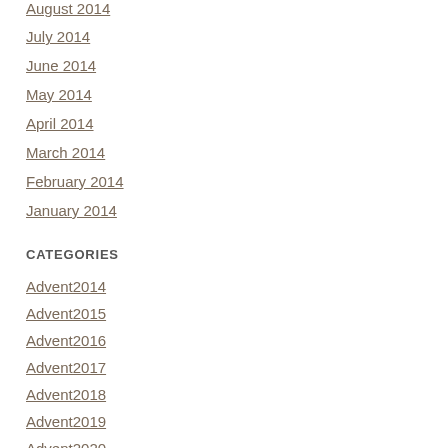August 2014
July 2014
June 2014
May 2014
April 2014
March 2014
February 2014
January 2014
CATEGORIES
Advent2014
Advent2015
Advent2016
Advent2017
Advent2018
Advent2019
Advent2020